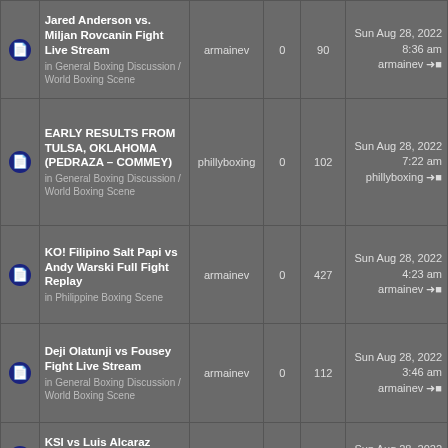|  | Topic | Author | Replies | Views | Last Post |
| --- | --- | --- | --- | --- | --- |
|  | Jared Anderson vs. Miljan Rovcanin Fight Live Stream
in General Boxing Discussion / World Boxing Scene | armainev | 0 | 90 | Sun Aug 28, 2022 8:36 am armainev |
|  | EARLY RESULTS FROM TULSA, OKLAHOMA (PEDRAZA – COMMEY)
in General Boxing Discussion / World Boxing Scene | phillyboxing | 0 | 102 | Sun Aug 28, 2022 7:22 am phillyboxing |
|  | KO! Filipino Salt Papi vs Andy Warski Full Fight Replay
in Philippine Boxing Scene | armainev | 0 | 427 | Sun Aug 28, 2022 4:23 am armainev |
|  | Deji Olatunji vs Fousey Fight Live Stream
in General Boxing Discussion / World Boxing Scene | armainev | 0 | 112 | Sun Aug 28, 2022 3:46 am armainev |
|  | KSI vs Luis Alcaraz Pineda Fight Live Stream
in General Boxing ... | armainev | 0 | 94 | Sun Aug 28, 2022 3:35 am |